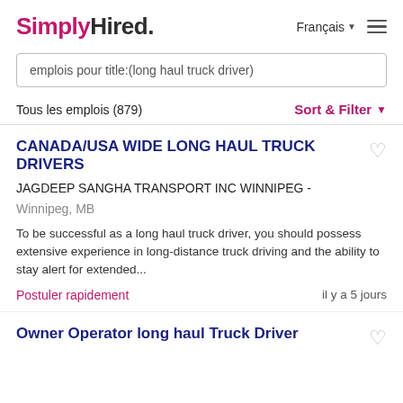SimplyHired. Français ☰
emplois pour title:(long haul truck driver)
Tous les emplois (879)
Sort & Filter
CANADA/USA WIDE LONG HAUL TRUCK DRIVERS
JAGDEEP SANGHA TRANSPORT INC WINNIPEG -
Winnipeg, MB
To be successful as a long haul truck driver, you should possess extensive experience in long-distance truck driving and the ability to stay alert for extended...
Postuler rapidement
il y a 5 jours
Owner Operator long haul Truck Driver